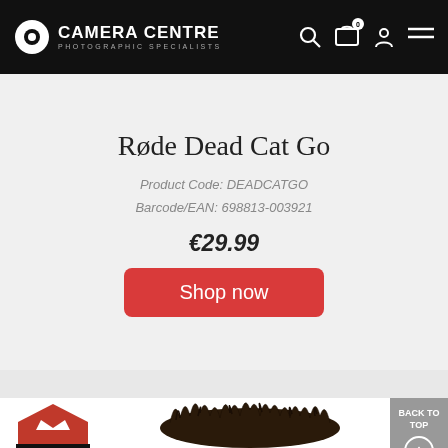Camera Centre - Photographic Specialists
Røde Dead Cat Go
Product Code: DEADCATGO
Barcode/EAN: 698813-003921
€29.99
Shop now
[Figure (photo): Highly Recommended badge (red hexagon with crown) and Røde Dead Cat Go furry windshield accessory product photo]